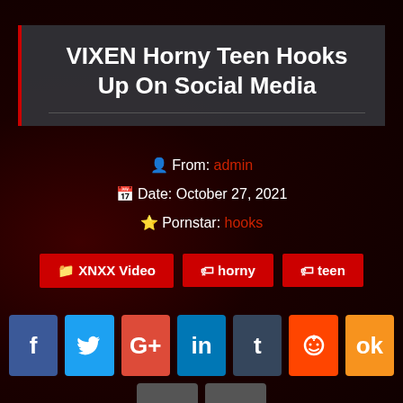VIXEN Horny Teen Hooks Up On Social Media
From: admin
Date: October 27, 2021
Pornstar: hooks
XNXX Video
horny
teen
[Figure (infographic): Social media share buttons: Facebook, Twitter, Google+, LinkedIn, Tumblr, Reddit, Odnoklassniki]